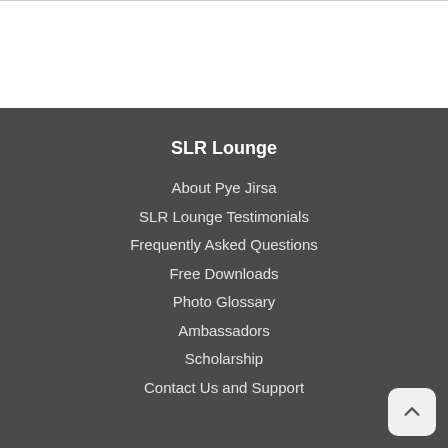SLR Lounge
About Pye Jirsa
SLR Lounge Testimonials
Frequently Asked Questions
Free Downloads
Photo Glossary
Ambassadors
Scholarship
Contact Us and Support